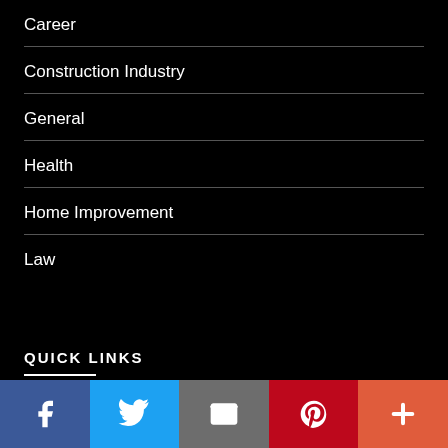Career
Construction Industry
General
Health
Home Improvement
Law
QUICK LINKS
[Figure (other): Social media share bar with Facebook, Twitter, Email, Pinterest, and More buttons]